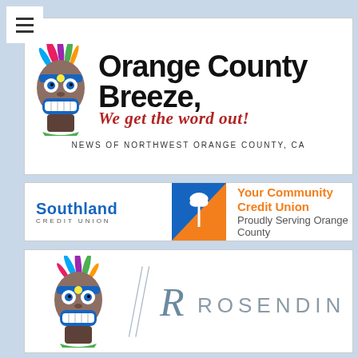[Figure (logo): Orange County Breeze newspaper logo with tiki mascot, 'Orange County Breeze' title text, tagline 'We get the word out!' in red italic, and subtitle 'NEWS OF NORTHWEST ORANGE COUNTY, CA']
[Figure (logo): Southland Credit Union banner ad with blue and orange color scheme and text 'Your Community Credit Union, Proudly Serving Orange County']
[Figure (logo): Rosendin company logo with tiki mascot and stylized 'R ROSENDIN' text in gray]